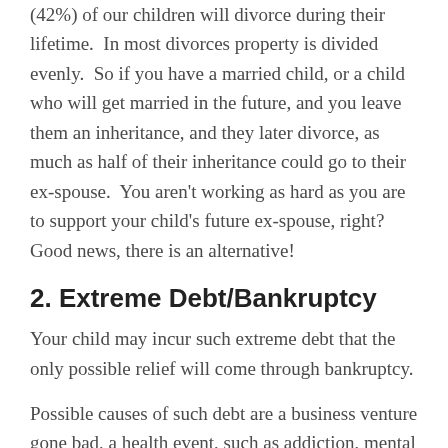(42%) of our children will divorce during their lifetime.  In most divorces property is divided evenly.  So if you have a married child, or a child who will get married in the future, and you leave them an inheritance, and they later divorce, as much as half of their inheritance could go to their ex-spouse.  You aren’t working as hard as you are to support your child’s future ex-spouse, right?  Good news, there is an alternative!
2. Extreme Debt/Bankruptcy
Your child may incur such extreme debt that the only possible relief will come through bankruptcy.
Possible causes of such debt are a business venture gone bad, a health event, such as addiction, mental illness, accident, or disease that results in either a temporary or permanent inability to work in addition to other treatment-related debt.